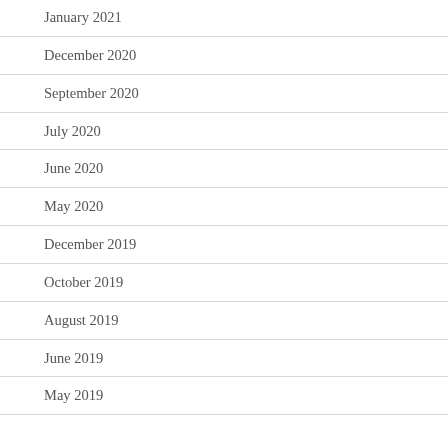January 2021
December 2020
September 2020
July 2020
June 2020
May 2020
December 2019
October 2019
August 2019
June 2019
May 2019